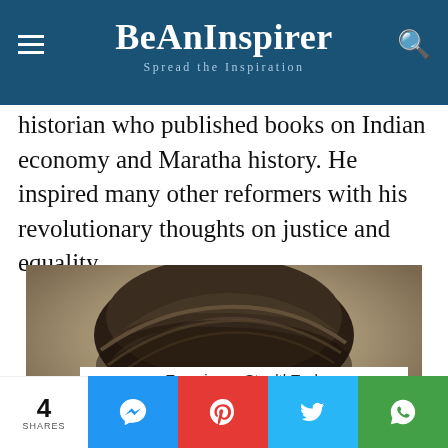BeAnInspirer – Spread the Inspiration
historian who published books on Indian economy and Maratha history. He inspired many other reformers with his revolutionary thoughts on justice and equality.
[Figure (photo): Close-up photo of a person wearing a traditional dark turban, cropped to show the top of the head and turban details against a light background.]
Experience StealthTech
4 SHARES | Messenger | Pinterest | Twitter | WhatsApp